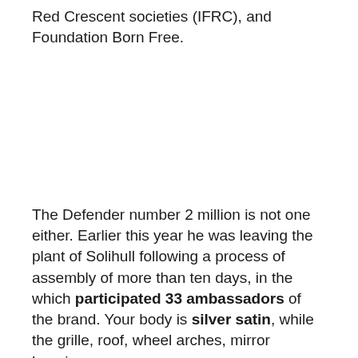Red Crescent societies (IFRC), and Foundation Born Free.
The Defender number 2 million is not one either. Earlier this year he was leaving the plant of Solihull following a process of assembly of more than ten days, in the which participated 33 ambassadors of the brand. Your body is silver satin, while the grille, roof, wheel arches, mirror housings